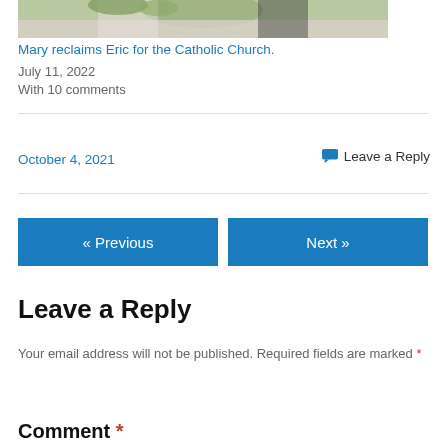[Figure (photo): Top portion of a wedding/couple photo showing greenery and people]
Mary reclaims Eric for the Catholic Church.
July 11, 2022
With 10 comments
October 4, 2021
💬 Leave a Reply
« Previous
Next »
Leave a Reply
Your email address will not be published. Required fields are marked *
Comment *